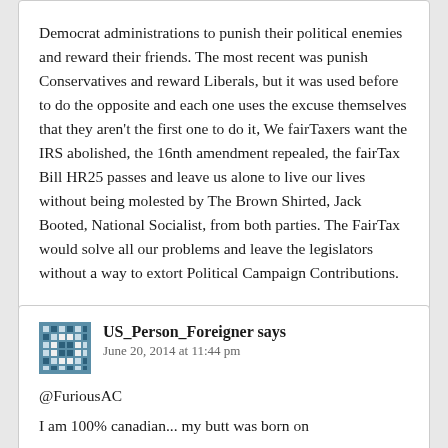Democrat administrations to punish their political enemies and reward their friends. The most recent was punish Conservatives and reward Liberals, but it was used before to do the opposite and each one uses the excuse themselves that they aren't the first one to do it, We fairTaxers want the IRS abolished, the 16nth amendment repealed, the fairTax Bill HR25 passes and leave us alone to live our lives without being molested by The Brown Shirted, Jack Booted, National Socialist, from both parties. The FairTax would solve all our problems and leave the legislators without a way to extort Political Campaign Contributions.
US_Person_Foreigner says
June 20, 2014 at 11:44 pm
@FuriousAC

I am 100% canadian... my butt was born on